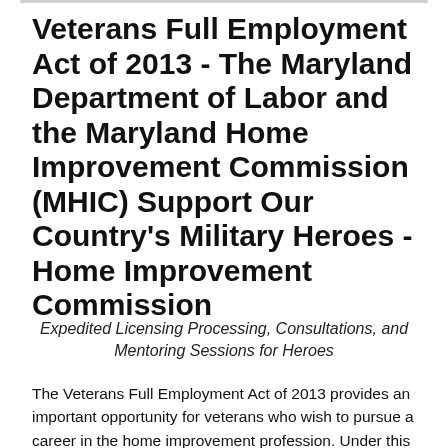Veterans Full Employment Act of 2013 - The Maryland Department of Labor and the Maryland Home Improvement Commission (MHIC) Support Our Country's Military Heroes - Home Improvement Commission
Expedited Licensing Processing, Consultations, and Mentoring Sessions for Heroes
The Veterans Full Employment Act of 2013 provides an important opportunity for veterans who wish to pursue a career in the home improvement profession. Under this law, veterans receive credit toward the Maryland Home Improvement Commission (MHIC) trade experience requirement for licensure and may obtain an expedited temporary contractor license. In addition, MHIC expediting all license applications for veterans.